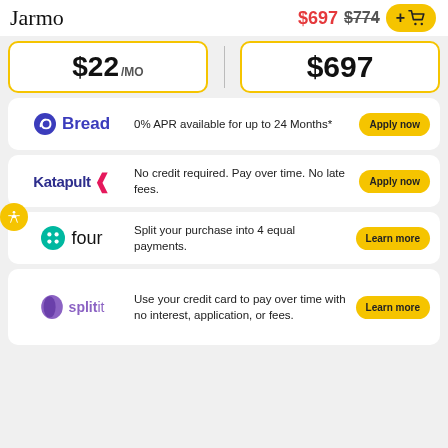Jarmo  $697  $774  +🛒
$22 /MO
$697
Bread — 0% APR available for up to 24 Months* — Apply now
Katapult — No credit required. Pay over time. No late fees. — Apply now
four — Split your purchase into 4 equal payments. — Learn more
splitit — Use your credit card to pay over time with no interest, application, or fees. — Learn more